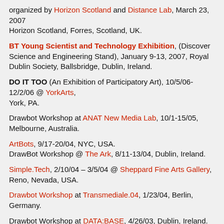organized by Horizon Scotland and Distance Lab, March 23, 2007
Horizon Scotland, Forres, Scotland, UK.
BT Young Scientist and Technology Exhibition, (Discover Science and Engineering Stand), January 9-13, 2007, Royal Dublin Society, Ballsbridge, Dublin, Ireland.
DO IT TOO (An Exhibition of Participatory Art), 10/5/06-12/2/06 @ YorkArts, York, PA.
Drawbot Workshop at ANAT New Media Lab, 10/1-15/05, Melbourne, Australia.
ArtBots, 9/17-20/04, NYC, USA.
DrawBot Workshop @ The Ark, 8/11-13/04, Dublin, Ireland.
Simple.Tech, 2/10/04 – 3/5/04 @ Sheppard Fine Arts Gallery, Reno, Nevada, USA.
Drawbot Workshop at Transmediale.04, 1/23/04, Berlin, Germany.
Drawbot Workshop at DATA:BASE, 4/26/03, Dublin, Ireland.
Prototype
The prototype for Drawbot consists of cheap materials. The concept stems from a project I did in elementary school with